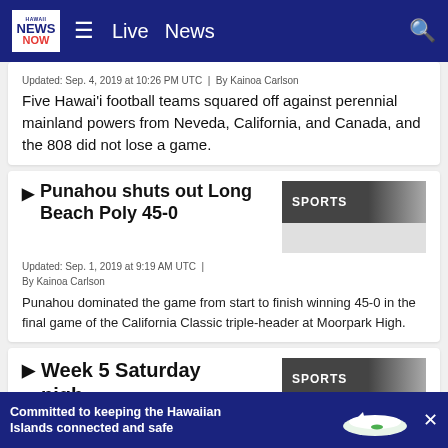Hawaii News Now — Live | News
Updated: Sep. 4, 2019 at 10:26 PM UTC  |  By Kainoa Carlson
Five Hawaiʻi football teams squared off against perennial mainland powers from Neveda, California, and Canada, and the 808 did not lose a game.
▶ Punahou shuts out Long Beach Poly 45-0
Updated: Sep. 1, 2019 at 9:19 AM UTC  |  By Kainoa Carlson
Punahou dominated the game from start to finish winning 45-0 in the final game of the California Classic triple-header at Moorpark High.
▶ Week 5 Saturday night high...
Committed to keeping the Hawaiian Islands connected and safe